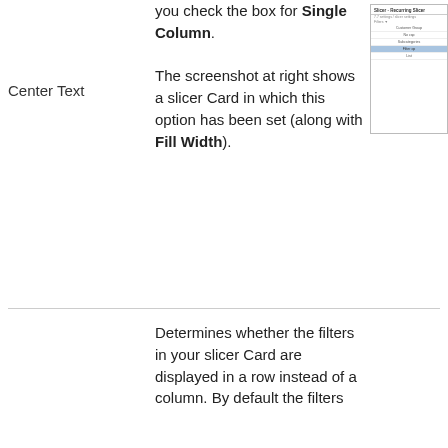you check the box for Single Column. The screenshot at right shows a slicer Card in which this option has been set (along with Fill Width).
Center Text
[Figure (screenshot): Screenshot of a slicer card panel showing options including Customer Group, No cap, Subcategories, Filter op, List with a highlighted blue row for Filter op]
Determines whether the filters in your slicer Card are displayed in a row instead of a column. By default the filters